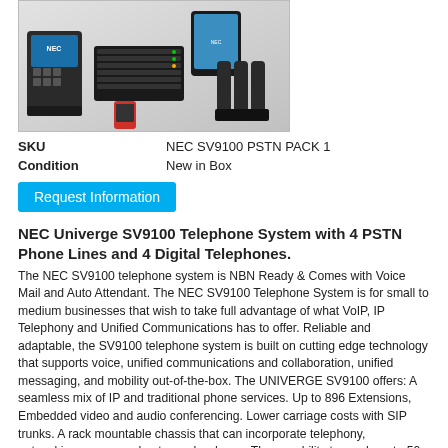[Figure (photo): Product photo of NEC SV9100 telephone system showing desk phones, server/PBX unit, mobile phone, tablets, and cordless handsets with charging cradles]
| SKU | NEC SV9100 PSTN PACK 1 |
| Condition | New in Box |
Request Information
NEC Univerge SV9100 Telephone System with 4 PSTN Phone Lines and 4 Digital Telephones.
The NEC SV9100 telephone system is NBN Ready & Comes with Voice Mail and Auto Attendant. The NEC SV9100 Telephone System is for small to medium businesses that wish to take full advantage of what VoIP, IP Telephony and Unified Communications has to offer. Reliable and adaptable, the SV9100 telephone system is built on cutting edge technology that supports voice, unified communications and collaboration, unified messaging, and mobility out-of-the-box. The UNIVERGE SV9100 offers: A seamless mix of IP and traditional phone services. Up to 896 Extensions, Embedded video and audio conferencing. Lower carriage costs with SIP trunks. A rack mountable chassis that can incorporate telephony, networking, server and gateway hardware. The capability to mesh up to 50 systems into a single image communication platform.
In this package you receive: